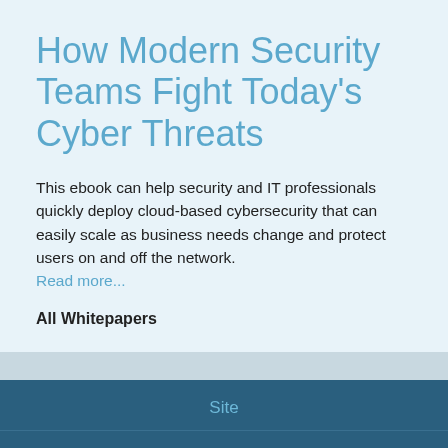How Modern Security Teams Fight Today's Cyber Threats
This ebook can help security and IT professionals quickly deploy cloud-based cybersecurity that can easily scale as business needs change and protect users on and off the network. Read more...
All Whitepapers
Site
K12 News
Opinion
Magazine
Newsletter